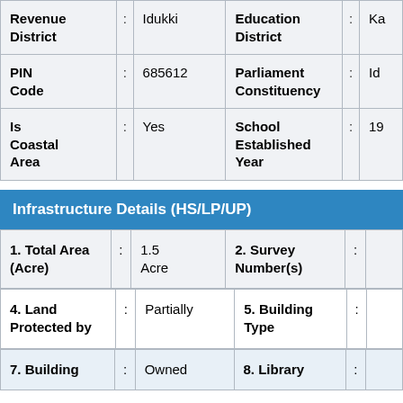| Field | : | Value | Field | : | Value |
| --- | --- | --- | --- | --- | --- |
| Revenue District | : | Idukki | Education District | : | Ka |
| PIN Code | : | 685612 | Parliament Constituency | : | Id |
| Is Coastal Area | : | Yes | School Established Year | : | 19 |
Infrastructure Details (HS/LP/UP)
| Field | : | Value | Field | : | Value |
| --- | --- | --- | --- | --- | --- |
| 1. Total Area (Acre) | : | 1.5 Acre | 2. Survey Number(s) | : |  |
| Field | : | Value | Field | : | Value |
| --- | --- | --- | --- | --- | --- |
| 4. Land Protected by | : | Partially | 5. Building Type | : |  |
| Field | : | Value | Field | : | Value |
| --- | --- | --- | --- | --- | --- |
| 7. Building | : | Owned | 8. Library | : |  |